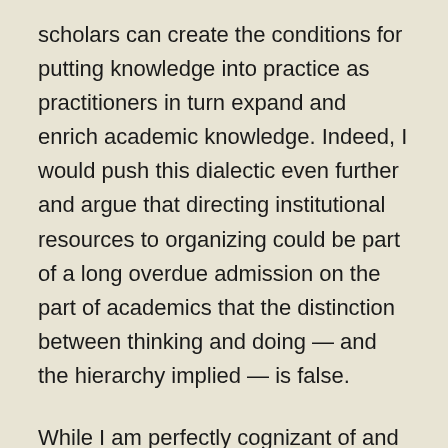scholars can create the conditions for putting knowledge into practice as practitioners in turn expand and enrich academic knowledge. Indeed, I would push this dialectic even further and argue that directing institutional resources to organizing could be part of a long overdue admission on the part of academics that the distinction between thinking and doing — and the hierarchy implied — is false.
While I am perfectly cognizant of and sympathetic to the fact that academics need to produce work in order to find and keep regular employment, and while I recognize the value in sometimes turning an outsider's evaluative gaze